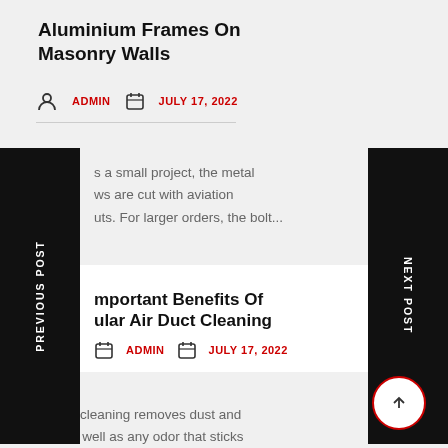Aluminium Frames On Masonry Walls
ADMIN   JULY 17, 2022
s a small project, the metal ws are cut with aviation uts. For larger orders, the bolt...
PREVIOUS POST
NEXT POST
mportant Benefits Of ular Air Duct Cleaning
ADMIN   JULY 17, 2022
Sewer cleaning removes dust and dirt, as well as any odor that sticks to it. Therefore, in the event of...